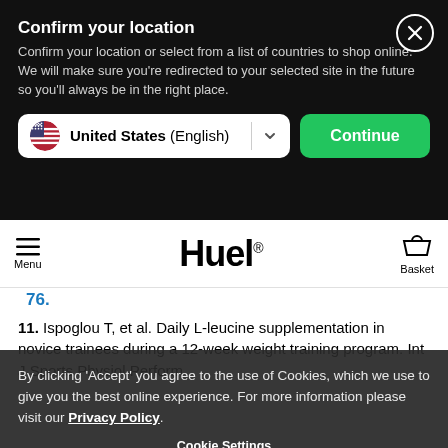[Figure (screenshot): Location confirmation modal overlay with dark background. Title: 'Confirm your location'. Body text: 'Confirm your location or select from a list of countries to shop online. We will make sure you're redirected to your selected site in the future so you'll always be in the right place.' Country selector showing 'United States (English)' with US flag, and a green 'Continue' button. A close (X) button in top-right corner.]
[Figure (screenshot): Huel website navigation bar with hamburger menu/Menu on left, Huel logo in center, and Basket icon on right.]
76.
11. Ispoglou T, et al. Daily L-leucine supplementation in novice trainees during a 12-week weight training program. Int J Sports Physiol Perform
[Figure (screenshot): Cookie consent banner with dark semi-transparent background. Text: 'By clicking Accept you agree to the use of Cookies, which we use to give you the best online experience. For more information please visit our Privacy Policy.' Below that: 'Cookie Settings' link. And a large green 'Accept' button.]
12. Nohori LL, et al. Leucine regulates translation initiation of protein synthesis in skeletal muscle after exercise. J Nutr. 2006; 136(2):533s-7s.
13. Tipton... protein synthesis by whey protein ingestion before and